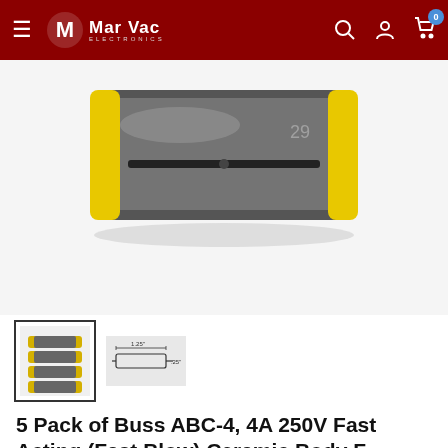Mar Vac Electronics
[Figure (photo): Close-up photo of a 5-pack of Buss ABC-4 ceramic body fuses in a clear plastic package with yellow ends, viewed from above on a white background]
[Figure (photo): Thumbnail image showing the 5-pack of fuses]
[Figure (schematic): Small schematic/diagram thumbnail of fuse dimensions]
5 Pack of Buss ABC-4, 4A 250V Fast Acting (Fast Blow) Ceramic Body F...